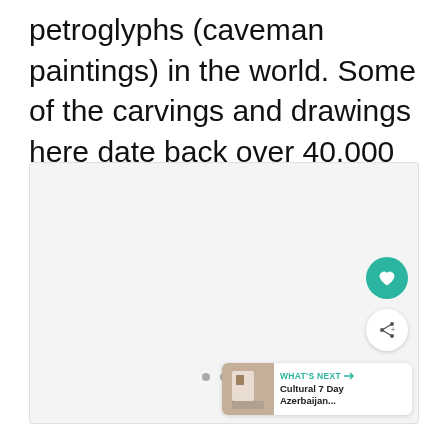petroglyphs (caveman paintings) in the world. Some of the carvings and drawings here date back over 40,000 years!
[Figure (photo): A large light gray placeholder image area representing a photo, with three small gray dots at the bottom center indicating a carousel/slideshow. A teal heart/favorite button and a white share button are overlaid on the right side. A 'WHAT'S NEXT' card appears at bottom right showing a thumbnail and text 'Cultural 7 Day Azerbaijan...']